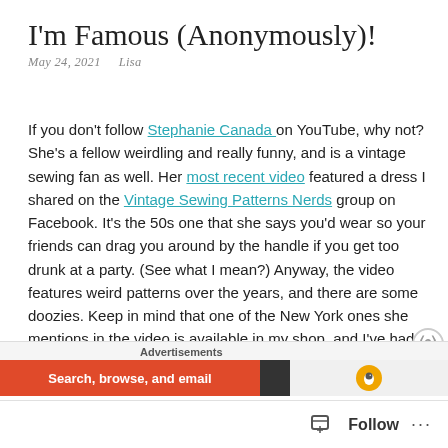I'm Famous (Anonymously)!
May 24, 2021   Lisa
If you don't follow Stephanie Canada on YouTube, why not? She's a fellow weirdling and really funny, and is a vintage sewing fan as well. Her most recent video featured a dress I shared on the Vintage Sewing Patterns Nerds group on Facebook. It's the 50s one that she says you'd wear so your friends can drag you around by the handle if you get too drunk at a party. (See what I mean?) Anyway, the video features weird patterns over the years, and there are some doozies. Keep in mind that one of the New York ones she mentions in the video is available in my shop, and I've had at least one other over the years proving, of course, what I've
Advertisements
[Figure (screenshot): Advertisement banner with orange background reading 'Search, browse, and email' and a dark section with DuckDuckGo-style icon]
Follow ...